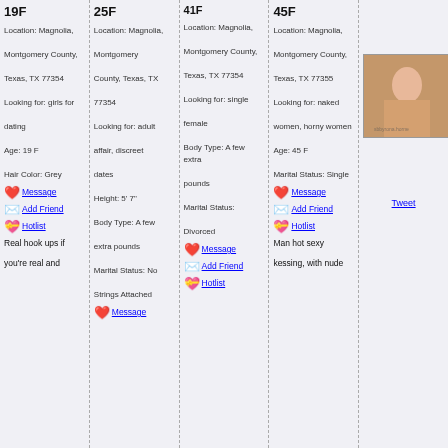19F
Location: Magnolia, Montgomery County, Texas, TX 77354
Looking for: girls for dating
Age: 19 F
Hair Color: Grey
Message
Add Friend
Hotlist
Real hook ups if you're real and
25F
Location: Magnolia, Montgomery County, Texas, TX 77354
Looking for: adult affair, discreet dates
Height: 5' 7"
Body Type: A few extra pounds
Marital Status: No Strings Attached
Message
41F
Location: Magnolia, Montgomery County, Texas, TX 77354
Looking for: single female
Body Type: A few extra pounds
Marital Status: Divorced
Message
Add Friend
Hotlist
45F
Location: Magnolia, Montgomery County, Texas, TX 77355
Looking for: naked women, horny women
Age: 45 F
Marital Status: Single
Message
Add Friend
Hotlist
Tweet
Man hot sexy kessing, with nude